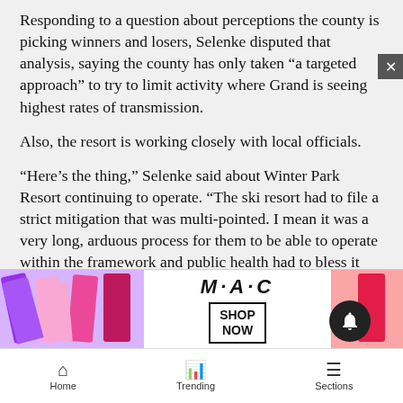Responding to a question about perceptions the county is picking winners and losers, Selenke disputed that analysis, saying the county has only taken “a targeted approach” to try to limit activity where Grand is seeing highest rates of transmission.
Also, the resort is working closely with local officials.
“Here’s the thing,” Selenke said about Winter Park Resort continuing to operate. “The ski resort had to file a strict mitigation that was multi-pointed. I mean it was a very long, arduous process for them to be able to operate within the framework and public health had to bless it and CDPHE had to bless that, so they went through a much more robust vetting proce...
Selenk...
[Figure (photo): Advertisement banner for MAC cosmetics showing lipsticks in purple, pink and red shades with MAC logo and SHOP NOW button]
Home   Trending   Sections